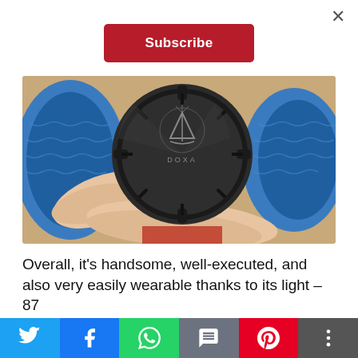×
Subscribe
[Figure (photo): Close-up photo of the back of a DOXA dive watch being held in a person's hand, showing the caseback with the DOXA sailboat logo engraving. The watch has a blue rubber strap visible at the sides.]
Overall, it's handsome, well-executed, and also very easily wearable thanks to its light – 87
We believe the... in a world where collection
[Figure (infographic): Social media share bar with icons for Twitter, Facebook, WhatsApp, SMS, Pinterest, and More (share).]